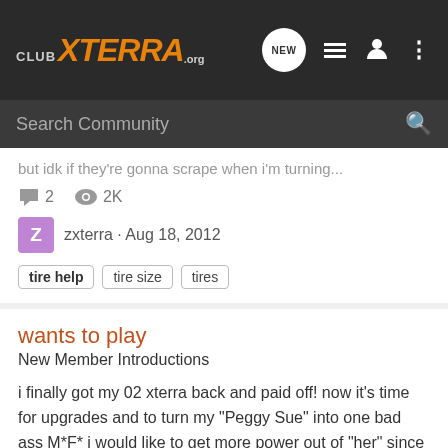ClubXTERRA.org
Search Community
but idk if they're gonna scrape when i'm turning...
2 comments · 2K views
zxterra · Aug 18, 2012
tire help · tire size · tires
wants to play
New Member Introductions
i finally got my 02 xterra back and paid off! now it's time for upgrades and to turn my "Peggy Sue" into one bad ass M*F* i would like to get more power out of "her" since i feel the 3.3L is seriously underpowered for a V6. My parents 05 Armada makes me jealous of the newer, quicker responding...